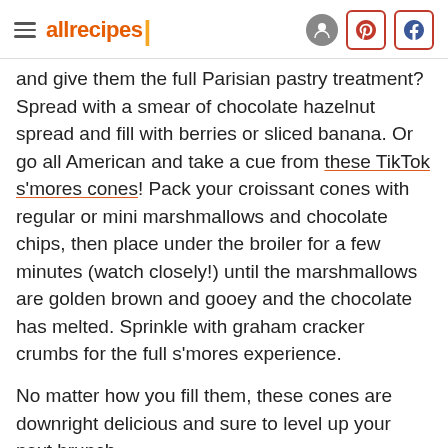allrecipes
and give them the full Parisian pastry treatment? Spread with a smear of chocolate hazelnut spread and fill with berries or sliced banana. Or go all American and take a cue from these TikTok s'mores cones! Pack your croissant cones with regular or mini marshmallows and chocolate chips, then place under the broiler for a few minutes (watch closely!) until the marshmallows are golden brown and gooey and the chocolate has melted. Sprinkle with graham cracker crumbs for the full s'mores experience.
No matter how you fill them, these cones are downright delicious and sure to level up your next brunch.